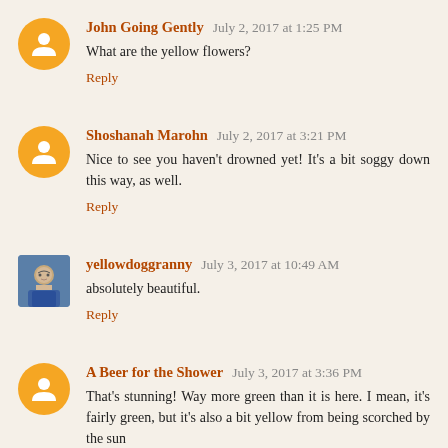John Going Gently  July 2, 2017 at 1:25 PM
What are the yellow flowers?
Reply
Shoshanah Marohn  July 2, 2017 at 3:21 PM
Nice to see you haven't drowned yet! It's a bit soggy down this way, as well.
Reply
yellowdoggranny  July 3, 2017 at 10:49 AM
absolutely beautiful.
Reply
A Beer for the Shower  July 3, 2017 at 3:36 PM
That's stunning! Way more green than it is here. I mean, it's fairly green, but it's also a bit yellow from being scorched by the sun